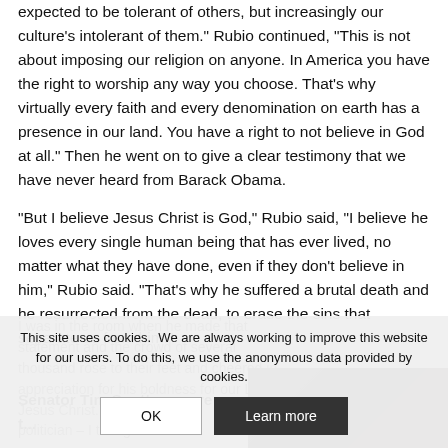expected to be tolerant of others, but increasingly our culture's intolerant of them." Rubio continued, "This is not about imposing our religion on anyone. In America you have the right to worship any way you choose. That's why virtually every faith and every denomination on earth has a presence in our land. You have a right to not believe in God at all." Then he went on to give a clear testimony that we have never heard from Barack Obama.
"But I believe Jesus Christ is God," Rubio said, "I believe he loves every single human being that has ever lived, no matter what they have done, even if they don't believe in him," Rubio said. "That's why he suffered a brutal death and he resurrected from the dead, to erase the sins that separate us from him."
I was in the room when he made that statement and the crowd of several thousand rose to their feet and cheered in appreciation for his boldness for our Lord Jesus Christ.
This site uses cookies.  We are always working to improve this website for our users. To do this, we use the anonymous data provided by cookies.
Senator Tim Scott — more preacher than politician — I thought I
[Figure (photo): Dark colored photo in bottom right corner, showing a dimly lit scene]